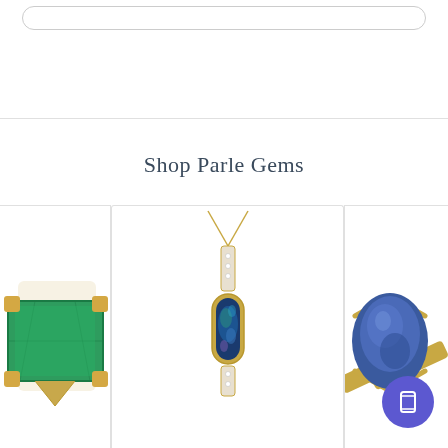Shop Parle Gems
[Figure (photo): Emerald green gemstone earring in gold prong setting, partially cropped on left side]
[Figure (photo): Opal pendant necklace with gold chain and diamond-accented bar, blue-green opal stone in gold bezel]
[Figure (photo): Blue tanzanite or sapphire ring in gold angular setting, partially cropped on right side]